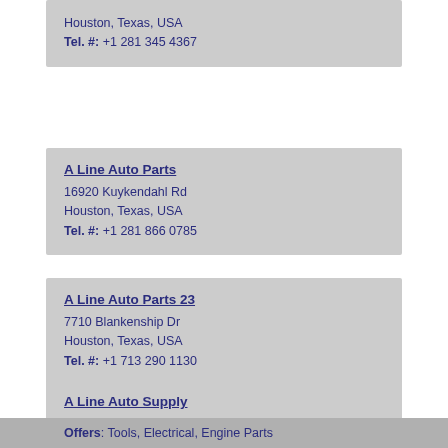Houston, Texas, USA
Tel. #: +1 281 345 4367
A Line Auto Parts
16920 Kuykendahl Rd
Houston, Texas, USA
Tel. #: +1 281 866 0785
A Line Auto Parts 23
7710 Blankenship Dr
Houston, Texas, USA
Tel. #: +1 713 290 1130
A Line Auto Supply
5809 Edgemoor Dr
Houston, Texas, USA
Tel. #: +1 713 663 7380
Offers: Tools, Electrical, Engine Parts